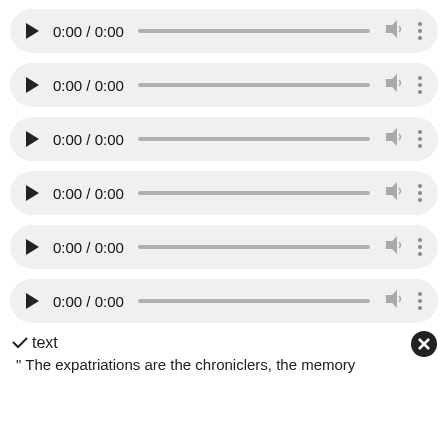[Figure (screenshot): Audio player 1: play button, 0:00 / 0:00 time display, progress bar, volume icon, more options dots]
[Figure (screenshot): Audio player 2: play button, 0:00 / 0:00 time display, progress bar, volume icon, more options dots]
[Figure (screenshot): Audio player 3: play button, 0:00 / 0:00 time display, progress bar, volume icon, more options dots]
[Figure (screenshot): Audio player 4: play button, 0:00 / 0:00 time display, progress bar, volume icon, more options dots]
[Figure (screenshot): Audio player 5: play button, 0:00 / 0:00 time display, progress bar, volume icon, more options dots]
[Figure (screenshot): Audio player 6: play button, 0:00 / 0:00 time display, progress bar, volume icon, more options dots]
✓ text
" The expatriations are the chroniclers, the memory